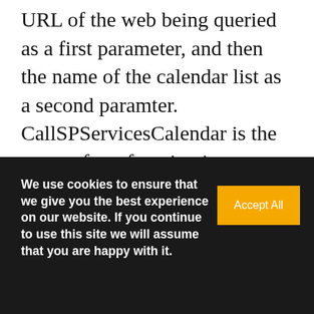URL of the web being queried as a first parameter, and then the name of the calendar list as a second paramter. CallSPServicesCalendar is the name of my function in calendar.js that retrieves calendar entries. At the bottom of my calendar.js I have a function that sorts the calendar entries.
We use cookies to ensure that we give you the best experience on our website. If you continue to use this site we will assume that you are happy with it.